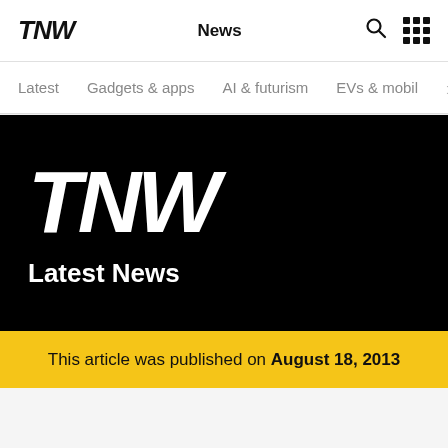TNW   News
Latest
Gadgets & apps
AI & futurism
EVs & mobil
[Figure (logo): TNW large white logo on black background with text Latest News below]
This article was published on August 18, 2013